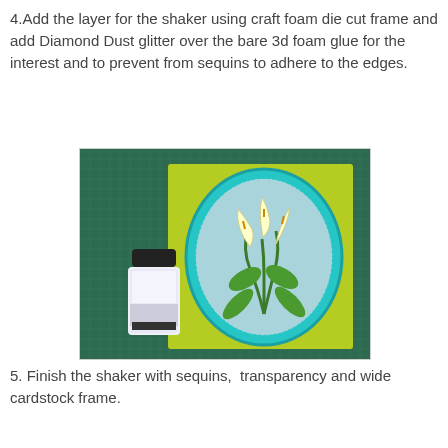4.Add the layer for the shaker using craft foam die cut frame and add Diamond Dust glitter over the bare 3d foam glue for the interest and to prevent from sequins to adhere to the edges.
[Figure (photo): A craft project showing a shaker card with a teal/turquoise oval frame on a green cardstock background, featuring white calla lily flowers stamped image inside. A small container of Diamond Dust glitter is placed in front. The card sits on a green cutting mat.]
5. Finish the shaker with sequins,  transparency and wide cardstock frame.